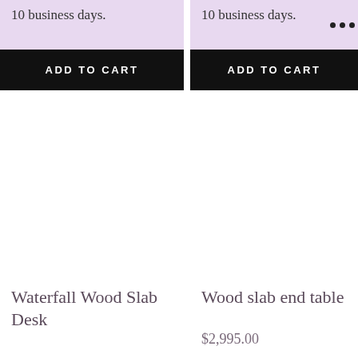10 business days.
10 business days.
ADD TO CART
ADD TO CART
[Figure (photo): Product image area for Waterfall Wood Slab Desk, white/empty]
[Figure (photo): Product image area for Wood slab end table, white/empty]
Waterfall Wood Slab Desk
Wood slab end table
$2,995.00